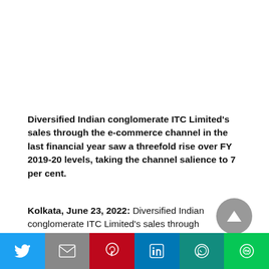Diversified Indian conglomerate ITC Limited's sales through the e-commerce channel in the last financial year saw a threefold rise over FY 2019-20 levels, taking the channel salience to 7 per cent.
Kolkata, June 23, 2022: Diversified Indian conglomerate ITC Limited's sales through the e-
[Figure (other): Scroll-to-top circular button with upward triangle arrow, grey background]
[Figure (other): Social share bar with Twitter, Gmail, Pinterest, LinkedIn, WhatsApp, Line icons]